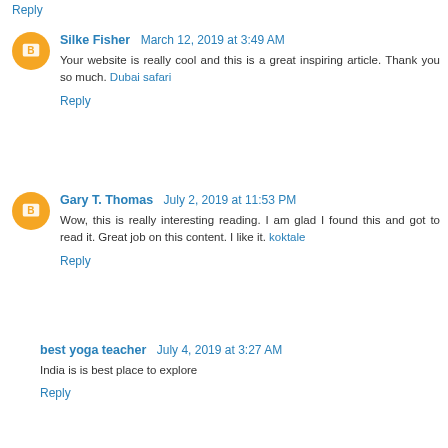Reply
Silke Fisher  March 12, 2019 at 3:49 AM
Your website is really cool and this is a great inspiring article. Thank you so much. Dubai safari
Reply
Gary T. Thomas  July 2, 2019 at 11:53 PM
Wow, this is really interesting reading. I am glad I found this and got to read it. Great job on this content. I like it. koktale
Reply
best yoga teacher  July 4, 2019 at 3:27 AM
India is is best place to explore
Reply